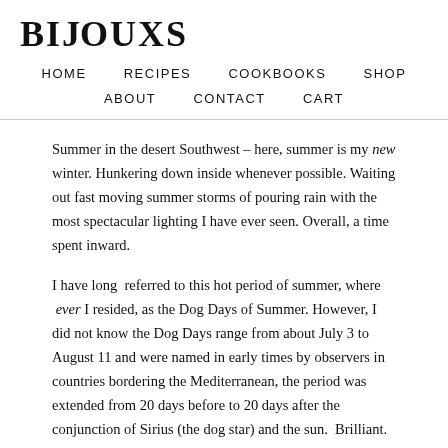BIJOUXS
HOME   RECIPES   COOKBOOKS   SHOP   ABOUT   CONTACT   CART
Summer in the desert Southwest – here, summer is my new winter. Hunkering down inside whenever possible. Waiting out fast moving summer storms of pouring rain with the most spectacular lighting I have ever seen. Overall, a time spent inward.
I have long  referred to this hot period of summer, where  ever I resided, as the Dog Days of Summer. However, I did not know the Dog Days range from about July 3 to August 11 and were named in early times by observers in countries bordering the Mediterranean, the period was extended from 20 days before to 20 days after the conjunction of Sirius (the dog star) and the sun.  Brilliant.